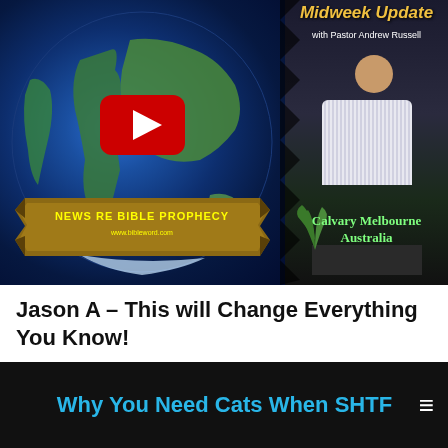[Figure (screenshot): YouTube video thumbnail for 'Midweek Update with Pastor Andrew Russell – News Re Bible Prophecy, Calvary Melbourne Australia'. Shows a globe on the left with a YouTube play button overlay, and a pastor at a podium on the right. A banner at the bottom reads 'NEWS RE BIBLE PROPHECY'. Text overlays include the show title and 'Calvary Melbourne Australia'.]
Jason A – This will Change Everything You Know!
Why You Need Cats When SHTF